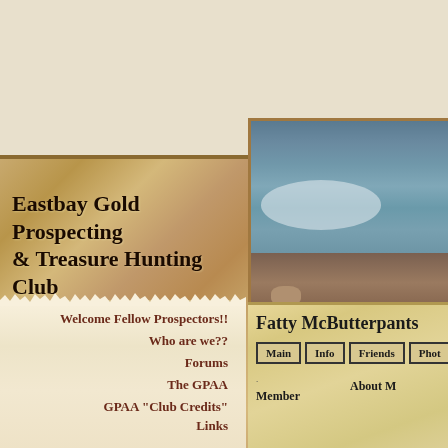[Figure (screenshot): Website screenshot of Eastbay Gold Prospecting & Treasure Hunting Club homepage with wooden sign banner, river/creek photo, left navigation parchment panel, and right user profile panel for 'Fatty McButterpants']
Eastbay Gold Prospecting & Treasure Hunting Club
Welcome Fellow Prospectors!!
Who are we??
Forums
The GPAA
GPAA "Club Credits"
Fatty McButterpants
Main  Info  Friends  Phot...
Member
About M...